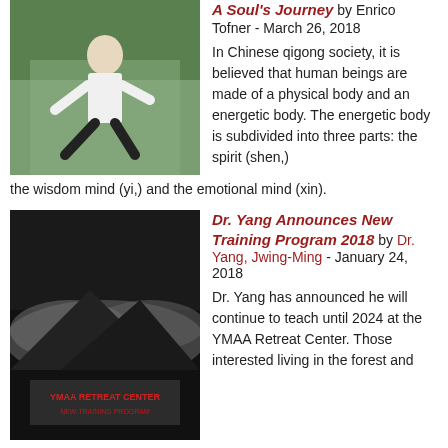[Figure (photo): Man in white shirt performing martial arts/qigong pose outdoors with green trees in background]
A Soul's Journey by Enrico Tofner - March 26, 2018
In Chinese qigong society, it is believed that human beings are made of a physical body and an energetic body. The energetic body is subdivided into three parts: the spirit (shen,) the wisdom mind (yi,) and the emotional mind (xin).
[Figure (photo): Dark atmospheric image with mountains and clouds, appears to be a book or video cover for YMAA retreat content]
Dr. Yang Announces New Training Program 2018 by Dr. Yang, Jwing-Ming - January 24, 2018
Dr. Yang has announced he will continue to teach until 2024 at the YMAA Retreat Center. Those interested living in the forest and learning tai chi and kung fu every day should apply soon for this new training program, studying at the Retreat Center with Dr Yang Jwing-Ming in CA.
[Figure (photo): Person in outdoor forest/nature setting practicing martial arts with a long weapon]
Dr. Yang, Jwing-Ming—a Giant of Martial Arts by Violet Li - November 28, 2017